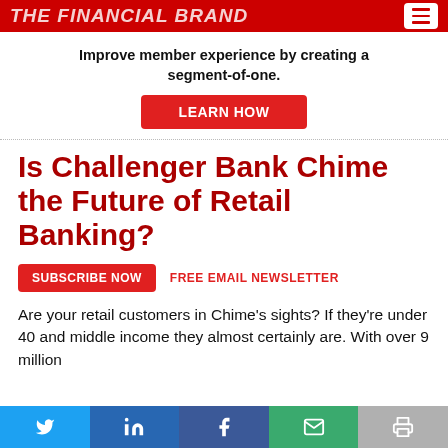THE FINANCIAL BRAND
Improve member experience by creating a segment-of-one.
LEARN HOW
Is Challenger Bank Chime the Future of Retail Banking?
SUBSCRIBE NOW   FREE EMAIL NEWSLETTER
Are your retail customers in Chime's sights? If they're under 40 and middle income they almost certainly are. With over 9 million